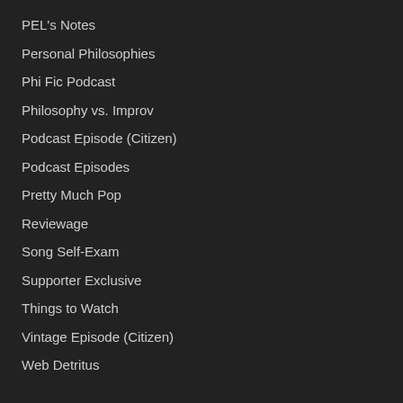PEL's Notes
Personal Philosophies
Phi Fic Podcast
Philosophy vs. Improv
Podcast Episode (Citizen)
Podcast Episodes
Pretty Much Pop
Reviewage
Song Self-Exam
Supporter Exclusive
Things to Watch
Vintage Episode (Citizen)
Web Detritus